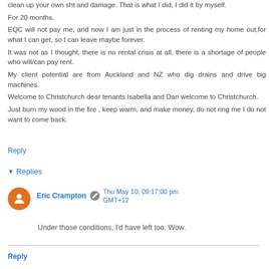clean up your own sht and damage. That is what I did, I did it by myself.
For 20 months.
EQC will not pay me, and now I am just in the process of renting my home out,for what I can get, so I can leave maybe forever.
It was not as I thought, there is no rental crisis at all, there is a shortage of people who will/can pay rent.
My client potential are from Auckland and NZ who dig drains and drive big machines.
Welcome to Christchurch dear tenants Isabella and Dan welcome to Christchurch.
Just burn my wood in the fire , keep warm, and make money, do not ring me I do not want to come back.
Reply
Replies
Eric Crampton  Thu May 10, 09:17:00 pm GMT+12
Under those conditions, I'd have left too. Wow.
Reply